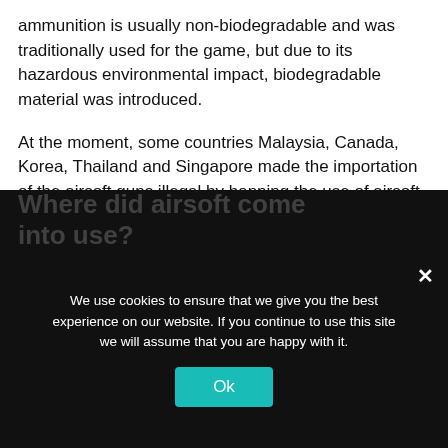ammunition is usually non-biodegradable and was traditionally used for the game, but due to its hazardous environmental impact, biodegradable material was introduced.
At the moment, some countries Malaysia, Canada, Korea, Thailand and Singapore made the importation of the airsoft guns illegal by banning the use of airsoft BBs together with guns. Here in the United States, States such as Arkansas, California, Chicago, San Francisco, and Washington DC, the possession of airsoft guns is illegal under the airsoft guns regulations, put in place. Some of the reasons are due to the pollution of the environment.
We use cookies to ensure that we give you the best experience on our website. If you continue to use this site we will assume that you are happy with it.